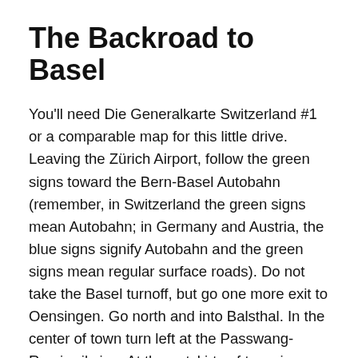The Backroad to Basel
You'll need Die Generalkarte Switzerland #1 or a comparable map for this little drive. Leaving the Zürich Airport, follow the green signs toward the Bern-Basel Autobahn (remember, in Switzerland the green signs mean Autobahn; in Germany and Austria, the blue signs signify Autobahn and the green signs mean regular surface roads). Do not take the Basel turnoff, but go one more exit to Oensingen. Go north and into Balsthal. In the center of town turn left at the Passwang-Ramiswil sign. At the outskirts of town is a sign that indicates whether the pass is open.
Once past several hairpin turns and through the tunnel in the mountain just below the summit, you will encounter some lovely views of the valley